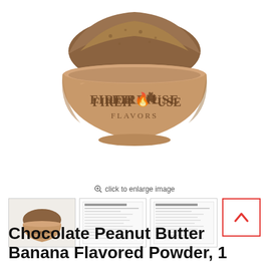[Figure (photo): Wooden bowl branded 'Firehouse Flavors' filled with brown powder (chocolate peanut butter banana flavored powder) on white background]
click to enlarge image
[Figure (photo): Thumbnail 1: small version of bowl photo]
[Figure (photo): Thumbnail 2: nutrition label document]
[Figure (photo): Thumbnail 3: nutrition label document]
Chocolate Peanut Butter Banana Flavored Powder, 1